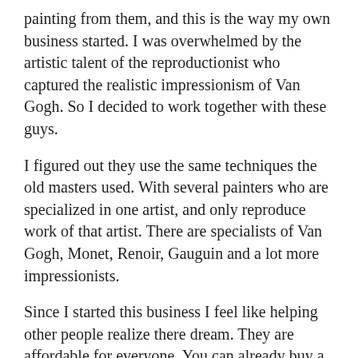painting from them, and this is the way my own business started. I was overwhelmed by the artistic talent of the reproductionist who captured the realistic impressionism of Van Gogh. So I decided to work together with these guys.
I figured out they use the same techniques the old masters used. With several painters who are specialized in one artist, and only reproduce work of that artist. There are specialists of Van Gogh, Monet, Renoir, Gauguin and a lot more impressionists.
Since I started this business I feel like helping other people realize there dream. They are affordable for everyone. You can already buy a 'real' Van Gogh for as less as 120 USD. This is not too much for a beautiful lasting post-impressionistic piece of artwork. If you are searching for this kind of timeless house warming painting, go and check out my website at http://www.repropaint.com